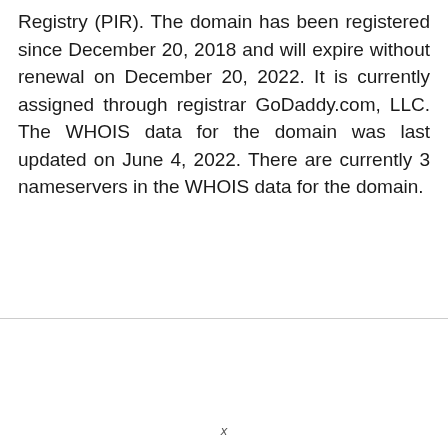Registry (PIR). The domain has been registered since December 20, 2018 and will expire without renewal on December 20, 2022. It is currently assigned through registrar GoDaddy.com, LLC. The WHOIS data for the domain was last updated on June 4, 2022. There are currently 3 nameservers in the WHOIS data for the domain.